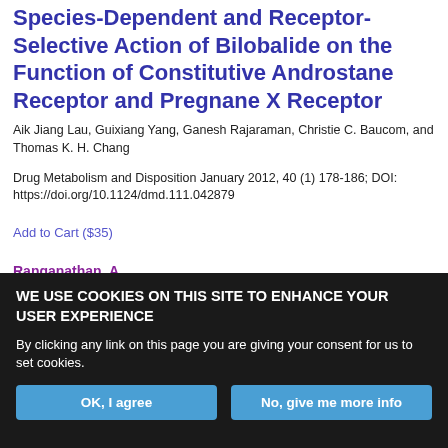Species-Dependent and Receptor-Selective Action of Bilobalide on the Function of Constitutive Androstane Receptor and Pregnane X Receptor
Aik Jiang Lau, Guixiang Yang, Ganesh Rajaraman, Christie C. Baucom, and Thomas K. H. Chang
Drug Metabolism and Disposition January 2012, 40 (1) 178-186; DOI: https://doi.org/10.1124/dmd.111.042879
Add to Cart ($35)
Ranganathan, A.
In Vitro Glucuronidation of the Antifunsterial Triazole and It...
WE USE COOKIES ON THIS SITE TO ENHANCE YOUR USER EXPERIENCE
By clicking any link on this page you are giving your consent for us to set cookies.
OK, I agree
No, give me more info